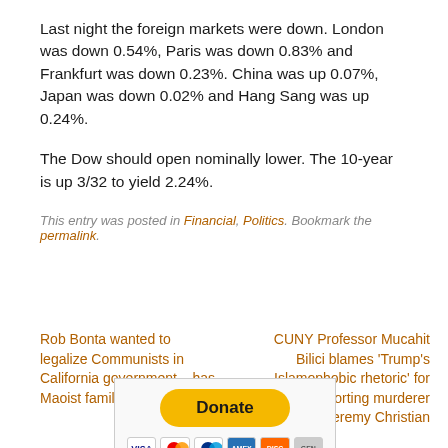Last night the foreign markets were down. London was down 0.54%, Paris was down 0.83% and Frankfurt was down 0.23%. China was up 0.07%, Japan was down 0.02% and Hang Sang was up 0.24%.
The Dow should open nominally lower. The 10-year is up 3/32 to yield 2.24%.
This entry was posted in Financial, Politics. Bookmark the permalink.
Rob Bonta wanted to legalize Communists in California government – has Maoist family background
CUNY Professor Mucahit Bilici blames 'Trump's Islamophobic rhetoric' for Bernie-supporting murderer Jeremy Christian
[Figure (other): PayPal Donate button with credit card icons (Visa, Mastercard, Maestro, American Express, Discover, generic)]
Donate to NoisyRoom.net Support American Values